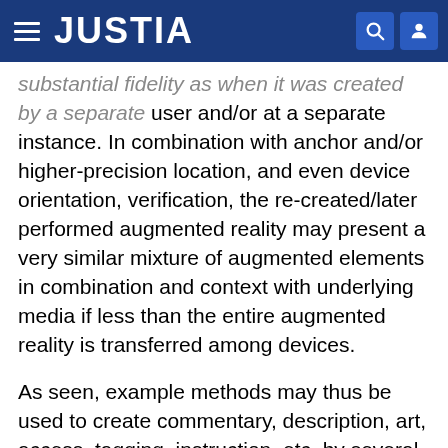JUSTIA
substantial fidelity as when it was created by a separate user and/or at a separate instance. In combination with anchor and/or higher-precision location, and even device orientation, verification, the re-created/later performed augmented reality may present a very similar mixture of augmented elements in combination and context with underlying media if less than the entire augmented reality is transferred among devices.
As seen, example methods may thus be used to create commentary, description, art, access, tagging, instruction, etc. by several collaborating users and/or at different points in time. The underlying subject matter may be unique and/or only at a specific location, or may be mass-replicated at several different locations, with each having associated augmented reality. Creating users may limit augmented reality performance to specific users, locations, times of day, dates, group